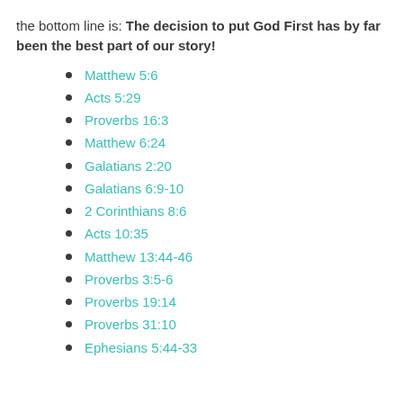the bottom line is: The decision to put God First has by far been the best part of our story!
Matthew 5:6
Acts 5:29
Proverbs 16:3
Matthew 6:24
Galatians 2:20
Galatians 6:9-10
2 Corinthians 8:6
Acts 10:35
Matthew 13:44-46
Proverbs 3:5-6
Proverbs 19:14
Proverbs 31:10
Ephesians 5:44-33